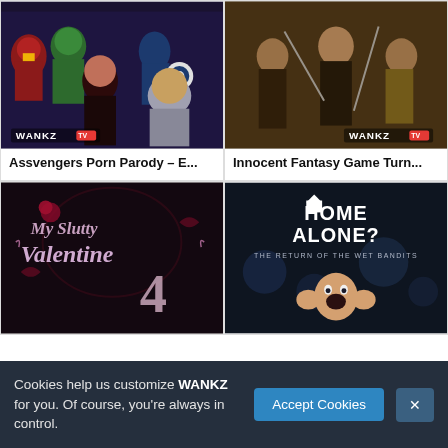[Figure (photo): Movie thumbnail for Assvengers Porn Parody showing costumed characters including Iron Man, Hulk, Captain America, Black Widow, and Thor with WANKZ TV logo]
Assvengers Porn Parody – E...
[Figure (photo): Movie thumbnail for Innocent Fantasy Game Turn showing three women in warrior/fantasy costumes with swords and weapons with WANKZ TV logo]
Innocent Fantasy Game Turn...
[Figure (photo): Movie thumbnail for My Slutty Valentine 4 with decorative red rose lettering on dark background]
[Figure (photo): Movie thumbnail for Home Alone? The Return of the Wet Bandits showing title text and man with hands on face]
Cookies help us customize WANKZ for you. Of course, you're always in control.